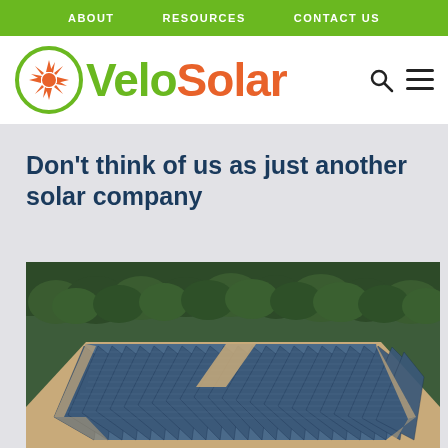ABOUT   RESOURCES   CONTACT US
VeloSolar
Don't think of us as just another solar company
[Figure (photo): Aerial view of a large solar panel farm surrounded by forest trees, with sandy paths around the perimeter of the installation.]